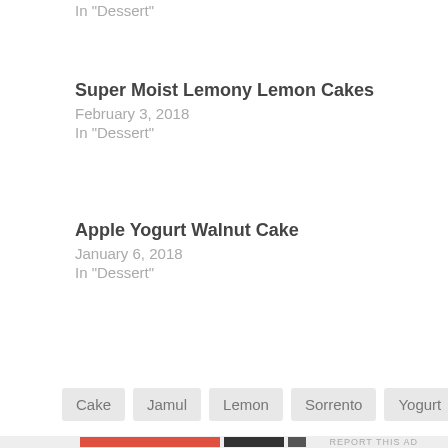In "Dessert"
Super Moist Lemony Lemon Cakes
February 3, 2018
In "Dessert"
Apple Yogurt Walnut Cake
January 6, 2018
In "Dessert"
Cake
Jamul
Lemon
Sorrento
Yogurt
Privacy & Cookies: This site uses cookies. By continuing to use this website, you agree to their use.
To find out more, including how to control cookies, see here: Cookie Policy
Close and accept